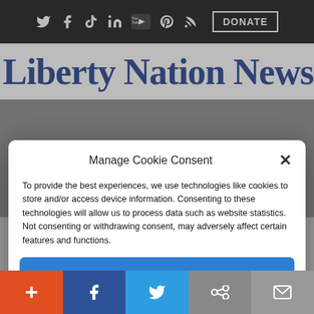Social media icons: Twitter, Facebook, TikTok, LinkedIn, YouTube, Pinterest, RSS | DONATE
Liberty Nation News
Manage Cookie Consent
To provide the best experiences, we use technologies like cookies to store and/or access device information. Consenting to these technologies will allow us to process data such as website statistics. Not consenting or withdrawing consent, may adversely affect certain features and functions.
Accept
Cookie Policy  Privacy Policy
center stage for the classless acts of the
+ (add) | Facebook | Twitter | Link | Mail